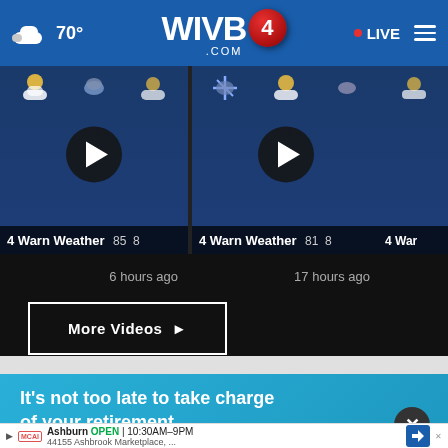70° WIVB4.COM ▶ LIVE
[Figure (screenshot): Video thumbnail 1: 4 Warn Weather forecast video, weather icons on dark blue background, play button overlay, shows '85' number, posted 6 hours ago]
[Figure (screenshot): Video thumbnail 2: 4 Warn Weather forecast video, weather icons on dark blue background, play button overlay, shows '81' number, posted 17 hours ago]
[Figure (screenshot): Video thumbnail 3: 4 Warn Weather partial thumbnail]
6 hours ago
17 hours ago
More Videos ▶
[Figure (infographic): Advertisement: 'It's not too late to take charge of your retirement.' on teal/blue gradient background with close button]
Ashburn OPEN 10:30AM–9PM 44155 Ashbrook Marketplace, ...